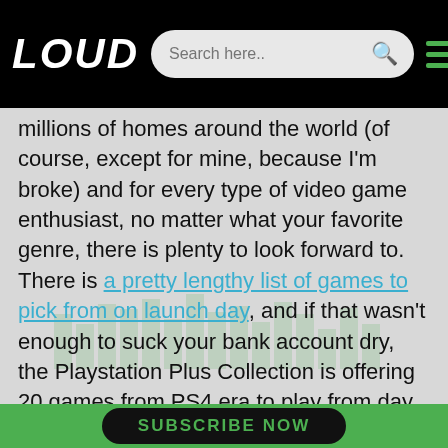LOUD — Search here.. [search icon] [hamburger menu]
millions of homes around the world (of course, except for mine, because I'm broke) and for every type of video game enthusiast, no matter what your favorite genre, there is plenty to look forward to. There is a pretty lengthy list of games to pick from on launch day, and if that wasn't enough to suck your bank account dry, the Playstation Plus Collection is offering 20 games from PS4 era to play from day one (including classics like Bloodborne, Fallout 4 and the Last of Us) and the growing list of titles being released shortly after launch day is enough to make you soil yourself in excitement.
SUBSCRIBE NOW